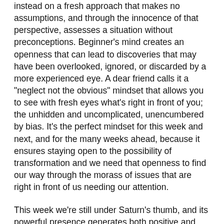instead on a fresh approach that makes no assumptions, and through the innocence of that perspective, assesses a situation without preconceptions. Beginner's mind creates an openness that can lead to discoveries that may have been overlooked, ignored, or discarded by a more experienced eye. A dear friend calls it a "neglect not the obvious" mindset that allows you to see with fresh eyes what's right in front of you; the unhidden and uncomplicated, unencumbered by bias. It's the perfect mindset for this week and next, and for the many weeks ahead, because it ensures staying open to the possibility of transformation and we need that openness to find our way through the morass of issues that are right in front of us needing our attention.
This week we're still under Saturn's thumb, and its powerful presence generates both positive and negative potential. Saturn delineates boundaries and it can be a strict disciplinarian, critic, and judge. Yet Saturn also provides structure—it's the bones or skeletal organization of everything.
Saturn goes direct today; it's been retrograde since April 29.